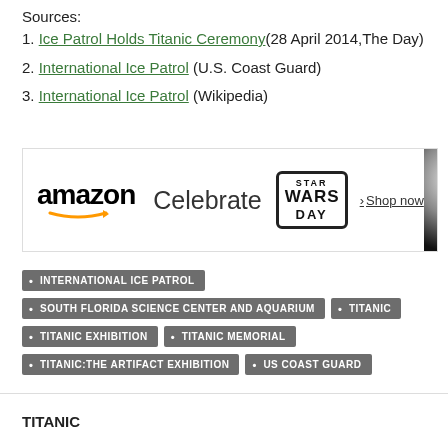Sources:
1. Ice Patrol Holds Titanic Ceremony (28 April 2014,The Day)
2. International Ice Patrol (U.S. Coast Guard)
3. International Ice Patrol (Wikipedia)
[Figure (screenshot): Amazon advertisement banner promoting Star Wars Day with 'Celebrate' text and 'Shop now' link]
INTERNATIONAL ICE PATROL
SOUTH FLORIDA SCIENCE CENTER AND AQUARIUM
TITANIC
TITANIC EXHIBITION
TITANIC MEMORIAL
TITANIC:THE ARTIFACT EXHIBITION
US COAST GUARD
TITANIC